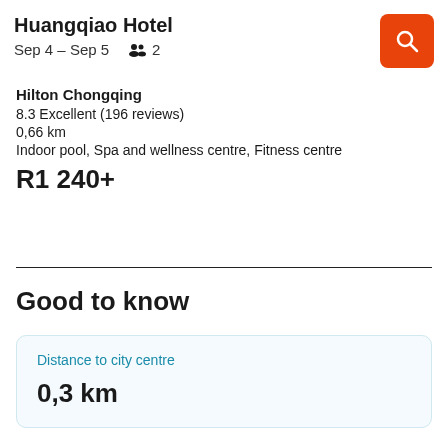Huangqiao Hotel
Sep 4 – Sep 5   👥 2
Hilton Chongqing
8.3 Excellent (196 reviews)
0,66 km
Indoor pool, Spa and wellness centre, Fitness centre
R1 240+
Good to know
Distance to city centre
0,3 km